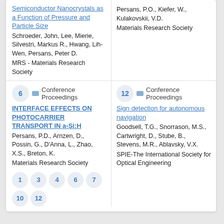Semiconductor Nanocrystals as a Function of Pressure and Particle Size
Schroeder, John, Lee, Mierie, Silvestri, Markus R., Hwang, Lih-Wen, Persans, Peter D.
MRS - Materials Research Society
Persans, P.O., Kiefer, W., Kulakovskii, V.D.
Materials Research Society
6 — Conference Proceedings
INTERFACE EFFECTS ON PHOTOCARRIER TRANSPORT IN a-Si:H
Persans, P.D., Arnzen, D., Possin, G., D'Anna, L., Zhao, X.S., Breton, K.
Materials Research Society
12 — Conference Proceedings
Sign detection for autonomous navigation
Goodsell, T.G., Snorrason, M.S., Cartwright, D., Stube, B., Stevens, M.R., Ablavsky, V.X.
SPIE-The International Society for Optical Engineering
Page badges: 1, 3, 4, 6, 7, 10, 12